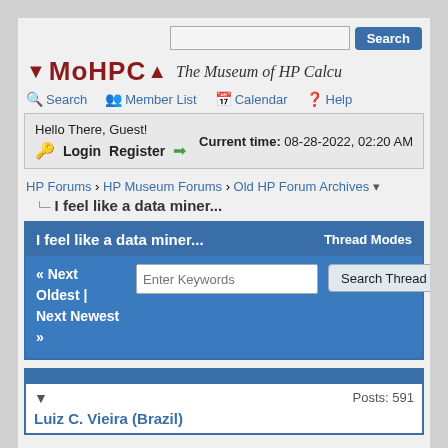MoHPCA — The Museum of HP Calculators — Search | Member List | Calendar | Help
Hello There, Guest! Current time: 08-28-2022, 02:20 AM Login Register
HP Forums › HP Museum Forums › Old HP Forum Archives
I feel like a data miner...
I feel like a data miner... Thread Modes
« Next Oldest | Next Newest »  Enter Keywords  Search Thread
Luiz C. Vieira (Brazil)  Posts: 591